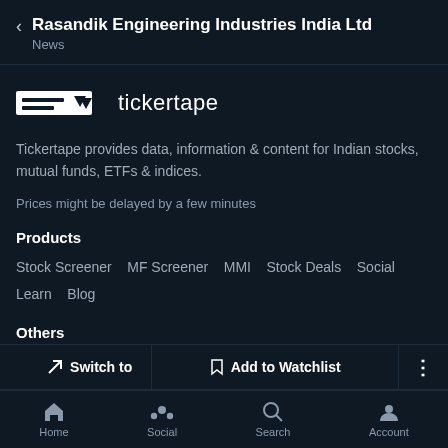Rasandik Engineering Industries India Ltd
News
[Figure (logo): Tickertape logo with two horizontal bars and a triangle/arrow icon, followed by the text 'tickertape']
Tickertape provides data, information & content for Indian stocks, mutual funds, ETFs & indices.
Prices might be delayed by a few minutes
Products
Stock Screener   MF Screener   MMI   Stock Deals   Social
Learn   Blog
Others
↗ Switch to   | 🔖 Add to Watchlist   | ⋮
Home   Social   Search   Account